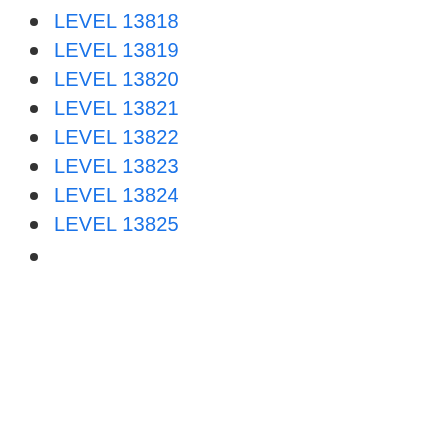LEVEL 13818
LEVEL 13819
LEVEL 13820
LEVEL 13821
LEVEL 13822
LEVEL 13823
LEVEL 13824
LEVEL 13825